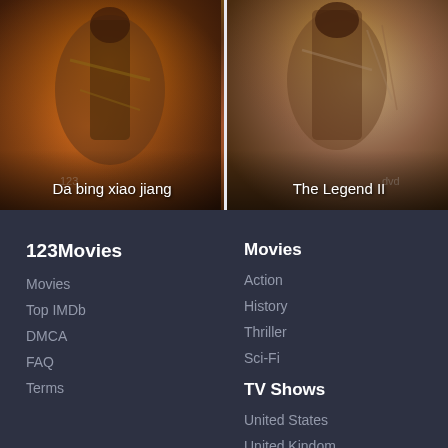[Figure (photo): Movie card for 'Da bing xiao jiang' showing a warrior figure in battle attire against an orange/brown background]
[Figure (photo): Movie card for 'The Legend II' showing a figure with weapons against a warm background]
123Movies
Movies
Top IMDb
DMCA
FAQ
Terms
Movies
Action
History
Thriller
Sci-Fi
TV Shows
United States
United Kindom
China